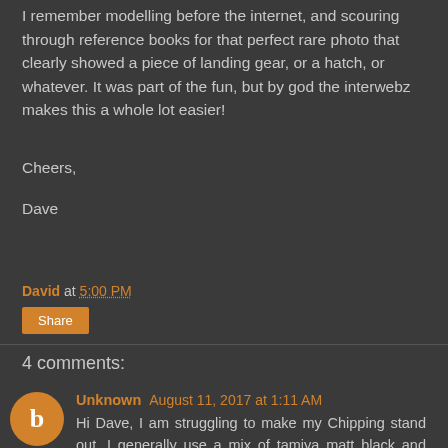I remember modelling before the internet, and scouring through reference books for that perfect rare photo that clearly showed a piece of landing gear, or a hatch, or whatever. It was part of the fun, but by god the interwebz makes this a whole lot easier!
Cheers,
Dave
David at 5:00 PM
Share
4 comments:
Unknown August 11, 2017 at 1:11 AM
Hi Dave, I am struggling to make my Chipping stand out, I generally use a mix of tamiya matt black and tamiya nato brown, but they just seem to dry and fade, any advice